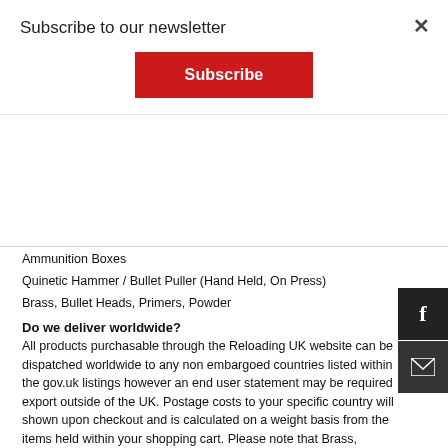Subscribe to our newsletter
Subscribe
Ammunition Boxes
Quinetic Hammer / Bullet Puller (Hand Held, On Press)
Brass, Bullet Heads, Primers, Powder
Do we deliver worldwide?
All products purchasable through the Reloading UK website can be dispatched worldwide to any non embargoed countries listed within the gov.uk listings however an end user statement may be required export outside of the UK. Postage costs to your specific country will shown upon checkout and is calculated on a weight basis from the items held within your shopping cart. Please note that Brass, Bullets, Powder, Primers and ammunition fall within the Hazardous Materials category when leaving the UK therefore higher postage costs may be quoted. End user statements and nescessary import documention will be requested by Reloading UK via email when required.
Our open export license covers the following countries. Any countries not listed will require an individual export license which may take upto 12 weeks to be granted before we can dispatch the order:
Andorra
Australia